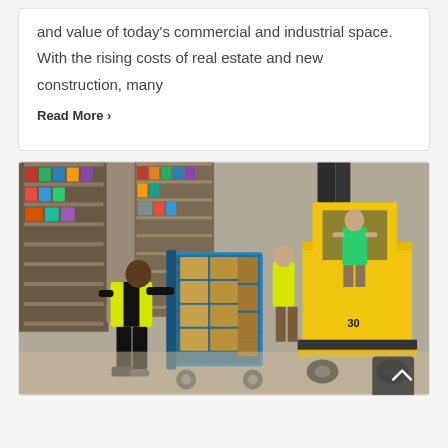and value of today's commercial and industrial space. With the rising costs of real estate and new construction, many
Read More >
[Figure (photo): Warehouse interior showing workers in safety vests: one worker pushes a cart loaded with boxed goods on a pallet cage, another worker operates a yellow Hyster forklift. Shelving aisles with goods visible in background.]